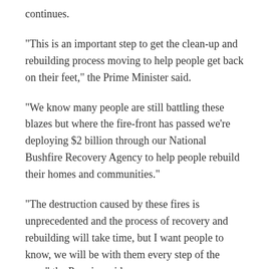continues.
“This is an important step to get the clean-up and rebuilding process moving to help people get back on their feet,” the Prime Minister said.
“We know many people are still battling these blazes but where the fire-front has passed we’re deploying $2 billion through our National Bushfire Recovery Agency to help people rebuild their homes and communities.”
“The destruction caused by these fires is unprecedented and the process of recovery and rebuilding will take time, but I want people to know, we will be with them every step of the way,” the Premier said.
“Government is picking up the bill for the clean-up, at no cost to owners, so if you’re uninsured, this is one less